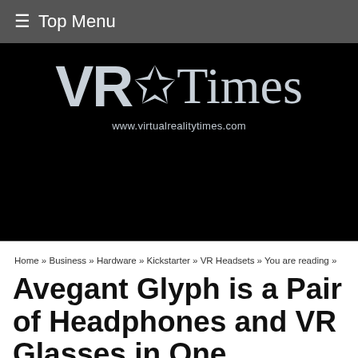≡ Top Menu
[Figure (logo): VR Times logo with large stylized 'VR' letters and gothic 'Times' text, with URL www.virtualrealitytimes.com below, on a black background]
Home » Business » Hardware » Kickstarter » VR Headsets » You are reading »
Avegant Glyph is a Pair of Headphones and VR Glasses in One